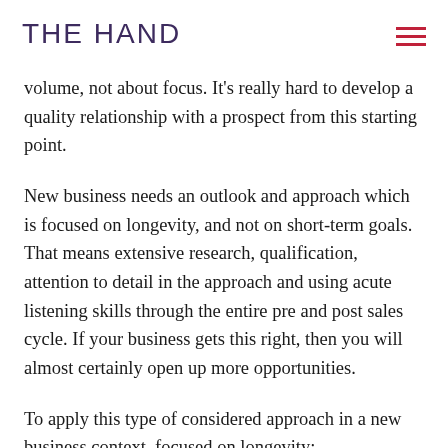THE HAND
volume, not about focus. It’s really hard to develop a quality relationship with a prospect from this starting point.
New business needs an outlook and approach which is focused on longevity, and not on short-term goals. That means extensive research, qualification, attention to detail in the approach and using acute listening skills through the entire pre and post sales cycle. If your business gets this right, then you will almost certainly open up more opportunities.
To apply this type of considered approach in a new business context, focused on longevity: